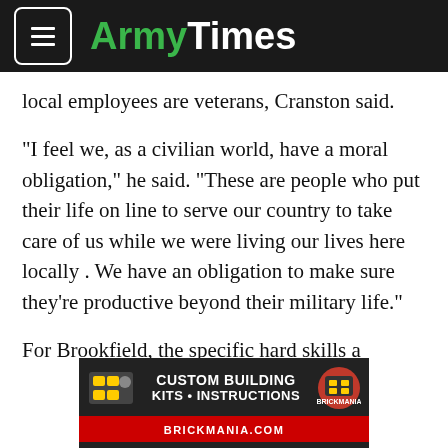ArmyTimes
local employees are veterans, Cranston said.
"I feel we, as a civilian world, have a moral obligation," he said. "These are people who put their life on line to serve our country to take care of us while we were living our lives here locally . We have an obligation to make sure they're productive beyond their military life."
For Brookfield, the specific hard skills a veteran brings to the company don't matter. Give Cranston a candidate with a solid set of soft skills — the sort of work ethic, adaptability and commitment the military instills in most soldiers — and he'll fill
[Figure (other): Advertisement banner for Brickmania.com: Custom Building Kits • Instructions]